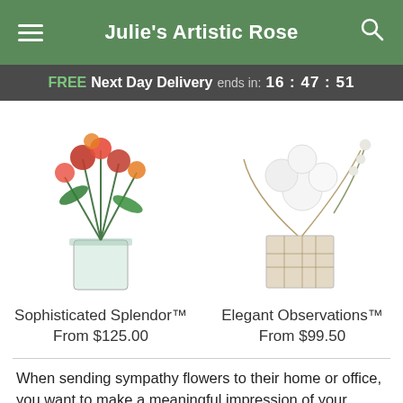Julie's Artistic Rose
FREE Next Day Delivery ends in: 16:47:51
[Figure (photo): Flower arrangement product photo: Sophisticated Splendor - red and orange flowers in a glass vase]
Sophisticated Splendor™
From $125.00
[Figure (photo): Flower arrangement product photo: Elegant Observations - white flowers in a square glass vase]
Elegant Observations™
From $99.50
When sending sympathy flowers to their home or office, you want to make a meaningful impression of your concern for them. Julie's Artistic Rose is here to help with a variety of flower arrangements and plants that we can hand-deliver at the peak of their beauty. Send comfort during difficult times with a gift to